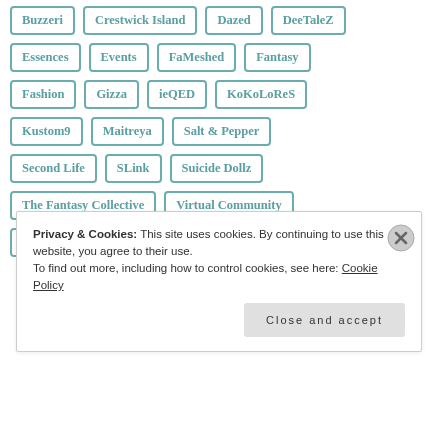Buzzeri
Crestwick Island
Dazed
DeeTaleZ
Essences
Events
FaMeshed
Fantasy
Fashion
Gizza
ieQED
KoKoLoReS
Kustom9
Maitreya
Salt & Pepper
Second Life
SLink
Suicide Dollz
The Fantasy Collective
Virtual Community
Virtual Reality
Virtual Worlds
Zenith
Privacy & Cookies: This site uses cookies. By continuing to use this website, you agree to their use.
To find out more, including how to control cookies, see here: Cookie Policy